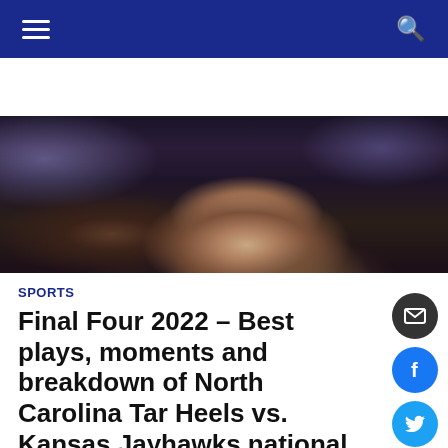Navigation bar with hamburger menu and search icon
[Figure (photo): Basketball player with arm raised in arena setting, crowd in background with arena lights]
SPORTS
Final Four 2022 – Best plays, moments and breakdown of North Carolina Tar Heels vs. Kansas Jayhawks national title game
April 4, 2022/Chronicle Reporter